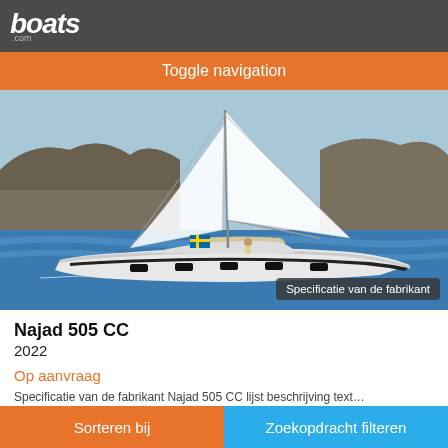boats.com
Toggle navigation
[Figure (photo): White sailboat with full sails on blue water, Swedish flag visible, rocky shore in background. Label overlay: 'Specificatie van de fabrikant']
Specificatie van de fabrikant
Najad 505 CC
2022
Op aanvraag
Specificatie van de fabrikant Najad 505 CC listing description text
Sorteren bij   Zoekopdracht filteren